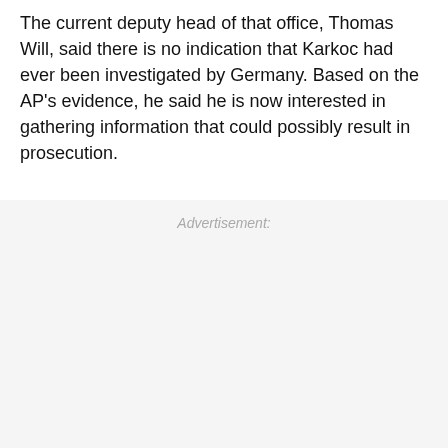The current deputy head of that office, Thomas Will, said there is no indication that Karkoc had ever been investigated by Germany. Based on the AP's evidence, he said he is now interested in gathering information that could possibly result in prosecution.
Advertisement: